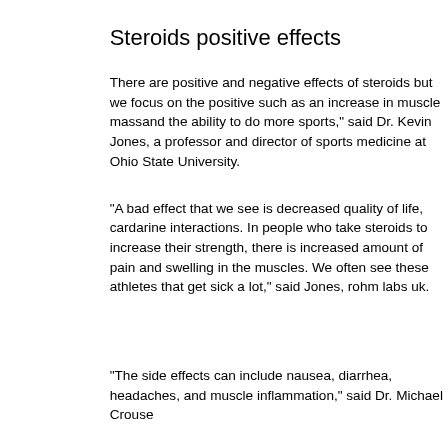Steroids positive effects
There are positive and negative effects of steroids but we focus on the positive such as an increase in muscle massand the ability to do more sports," said Dr. Kevin Jones, a professor and director of sports medicine at Ohio State University.
"A bad effect that we see is decreased quality of life, cardarine interactions. In people who take steroids to increase their strength, there is increased amount of pain and swelling in the muscles. We often see these athletes that get sick a lot," said Jones, rohm labs uk.
"The side effects can include nausea, diarrhea, headaches, and muscle inflammation," said Dr. Michael Crouse